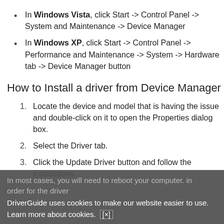In Windows Vista, click Start -> Control Panel -> System and Maintenance -> Device Manager
In Windows XP, click Start -> Control Panel -> Performance and Maintenance -> System -> Hardware tab -> Device Manager button
How to Install a driver from Device Manager
1. Locate the device and model that is having the issue and double-click on it to open the Properties dialog box.
2. Select the Driver tab.
3. Click the Update Driver button and follow the instructions.
In most cases, you will need to reboot your computer. in order for the driver...
DriverGuide uses cookies to make our website easier to use. Learn more about cookies. [x]